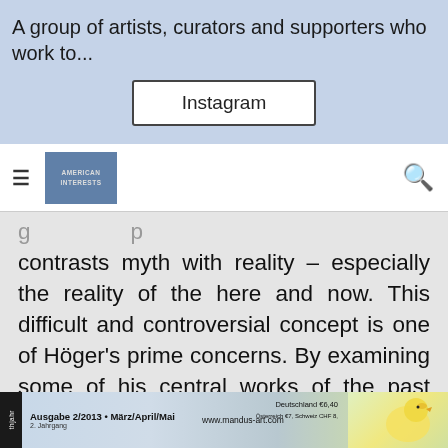A group of artists, curators and supporters who work to...
[Figure (screenshot): Instagram button on blue background]
[Figure (logo): Navigation bar with hamburger menu, publication logo, and search icon]
contrasts myth with reality – especially the reality of the here and now. This difficult and controversial concept is one of Höger's prime concerns. By examining some of his central works of the past years we can study the way in which he implements it in his artistic work."
[Figure (photo): Bottom strip showing magazine cover: Ausgabe 2/2013 • März/April/Mai, 2. Jahrgang, www.mandus-art.com, Deutschland €6,40, with decorative image of chick/bird]